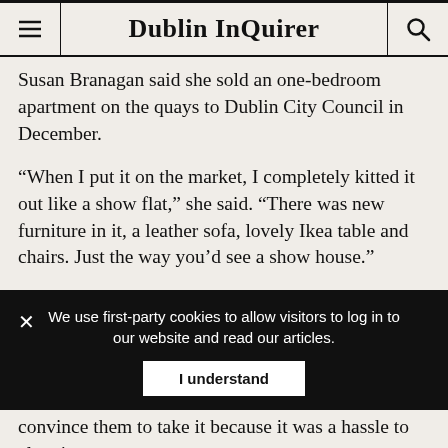Dublin InQuirer
Susan Branagan said she sold an one-bedroom apartment on the quays to Dublin City Council in December.
“When I put it on the market, I completely kitted it out like a show flat,” she said. “There was new furniture in it, a leather sofa, lovely Ikea table and chairs. Just the way you’d see a show house.”
After she sold it, Dublin City Council relayed through her solicitor that everything had to be taken out: washing machine, cooker, lamps, all the kitchen cupboards’ contents, brand-new duvets and pillows.
They left the bathroom fittings and the kitchen fittings,
We use first-party cookies to allow visitors to log in to our website and read our articles.
I understand
convince them to take it because it was a hassle to clear it